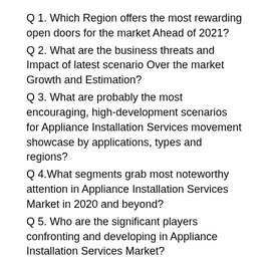Q 1. Which Region offers the most rewarding open doors for the market Ahead of 2021?
Q 2. What are the business threats and Impact of latest scenario Over the market Growth and Estimation?
Q 3. What are probably the most encouraging, high-development scenarios for Appliance Installation Services movement showcase by applications, types and regions?
Q 4.What segments grab most noteworthy attention in Appliance Installation Services Market in 2020 and beyond?
Q 5. Who are the significant players confronting and developing in Appliance Installation Services Market?
For More Information Read Table of Content @: https://www.htfmarketreport.com/reports/3868660-appliance-installation-services-market
Key poles of the TOC:
Chapter 1 Appliance Installation Services Market Revenue...